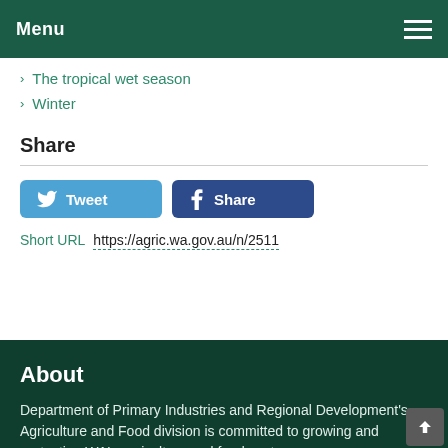Menu
The tropical wet season
Winter
Share
[Figure (other): Tweet and Facebook Share social media buttons]
Short URL  https://agric.wa.gov.au/n/2511
About
Department of Primary Industries and Regional Development's Agriculture and Food division is committed to growing and protecting WA's agriculture and food sector.